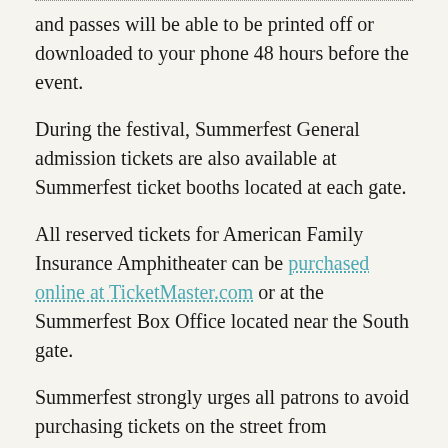and passes will be able to be printed off or downloaded to your phone 48 hours before the event.
During the festival, Summerfest General admission tickets are also available at Summerfest ticket booths located at each gate.
All reserved tickets for American Family Insurance Amphitheater can be purchased online at TicketMaster.com or at the Summerfest Box Office located near the South gate.
Summerfest strongly urges all patrons to avoid purchasing tickets on the street from unauthorized sources, as the tickets may be counterfeit. For your own protection, tickets should only be purchased at Summerfest ticket booths, online at the Summerfest Store or Ticketmaster.com. Counterfeit tickets and